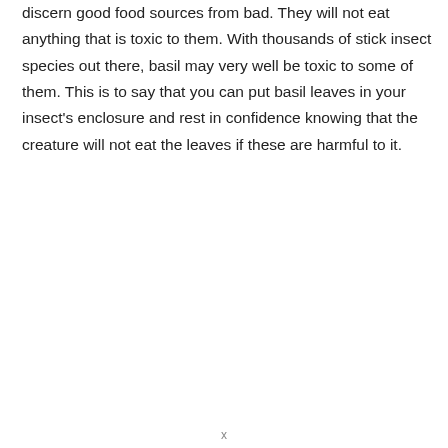discern good food sources from bad. They will not eat anything that is toxic to them. With thousands of stick insect species out there, basil may very well be toxic to some of them. This is to say that you can put basil leaves in your insect's enclosure and rest in confidence knowing that the creature will not eat the leaves if these are harmful to it.
x